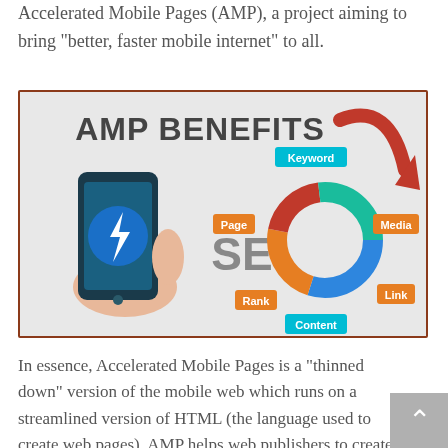Accelerated Mobile Pages (AMP), a project aiming to bring “better, faster mobile internet” to all.
[Figure (infographic): AMP BENEFITS infographic showing a hand holding a smartphone with the AMP lightning bolt logo, and the word 'SEO' with a donut chart showing segments labeled Keyword, Media, Link, Content, Page, Rank, and a red arrow pointing down-right.]
In essence, Accelerated Mobile Pages is a “thinned down” version of the mobile web which runs on a streamlined version of HTML (the language used to create web pages). AMP helps web publishers to create mobile-optimized content that